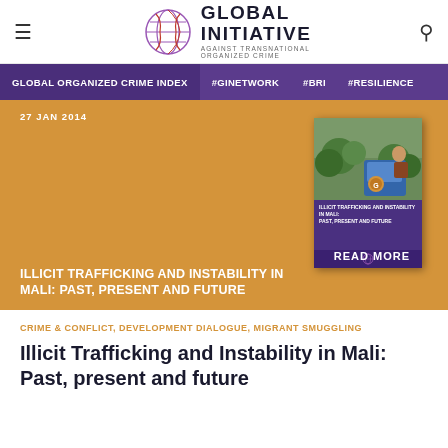Global Initiative Against Transnational Organized Crime
GLOBAL ORGANIZED CRIME INDEX  #GINETWORK  #BRI  #RESILIENCE
[Figure (screenshot): Hero image with orange/amber background. Shows book cover on right side. Date: 27 JAN 2014. Title: ILLICIT TRAFFICKING AND INSTABILITY IN MALI: PAST, PRESENT AND FUTURE. READ MORE link visible.]
CRIME & CONFLICT, DEVELOPMENT DIALOGUE, MIGRANT SMUGGLING
Illicit Trafficking and Instability in Mali: Past, present and future